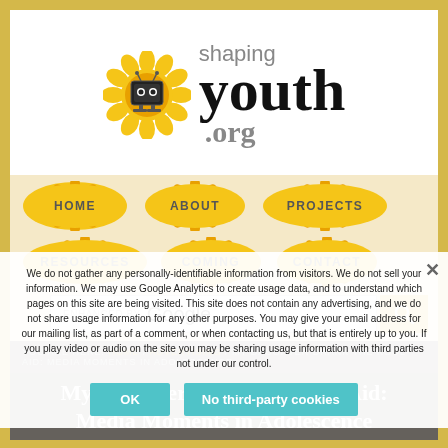[Figure (screenshot): ShapingYouth.org website screenshot showing logo with sunflower mascot, navigation menu with HOME, ABOUT, PROJECTS, RESOURCES, COMING, CONTACT buttons on sunflower backgrounds, Google enhanced search bar, and a privacy/cookie consent overlay with OK and No third-party cookies buttons]
We do not gather any personally-identifiable information from visitors. We do not sell your information. We may use Google Analytics to create usage data, and to understand which pages on this site are being visited. This site does not contain any advertising, and we do not share usage information for any other purposes. You may give your email address for our mailing list, as part of a comment, or when contacting us, but that is entirely up to you. If you play video or audio on the site you may be sharing usage information with third parties not under our control.
OK
No third-party cookies